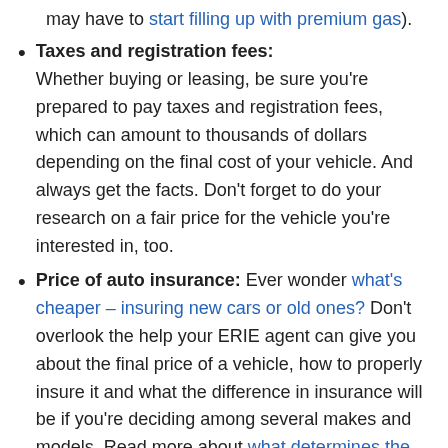may have to start filling up with premium gas).
Taxes and registration fees: Whether buying or leasing, be sure you're prepared to pay taxes and registration fees, which can amount to thousands of dollars depending on the final cost of your vehicle. And always get the facts. Don't forget to do your research on a fair price for the vehicle you're interested in, too.
Price of auto insurance: Ever wonder what's cheaper – insuring new cars or old ones? Don't overlook the help your ERIE agent can give you about the final price of a vehicle, how to properly insure it and what the difference in insurance will be if you're deciding among several makes and models. Read more about what determines the price of your auto...